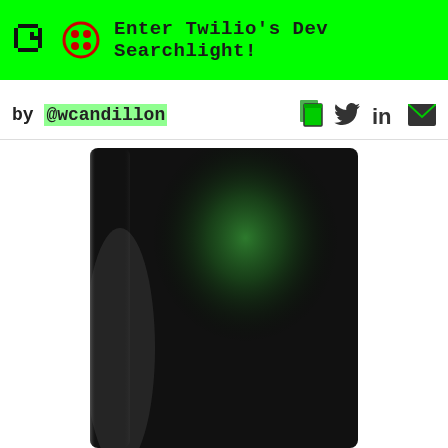Enter Twilio's Dev Searchlight!
by @wcandillon
[Figure (photo): Dark cylindrical object with green gradient lighting against white background, partially cut off at bottom of page]